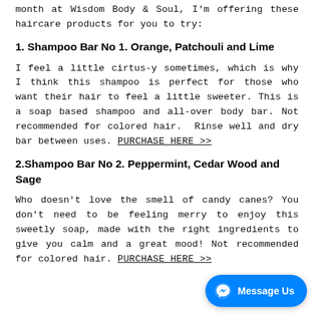month at Wisdom Body & Soul, I'm offering these haircare products for you to try:
1. Shampoo Bar No 1. Orange, Patchouli and Lime
I feel a little cirtus-y sometimes, which is why I think this shampoo is perfect for those who want their hair to feel a little sweeter. This is a soap based shampoo and all-over body bar. Not recommended for colored hair.  Rinse well and dry bar between uses. PURCHASE HERE >>
2.Shampoo Bar No 2. Peppermint, Cedar Wood and Sage
Who doesn't love the smell of candy canes? You don't need to be feeling merry to enjoy this sweetly soap, made with the right ingredients to give you calm and a great mood! Not recommended for colored hair. PURCHASE HERE >>